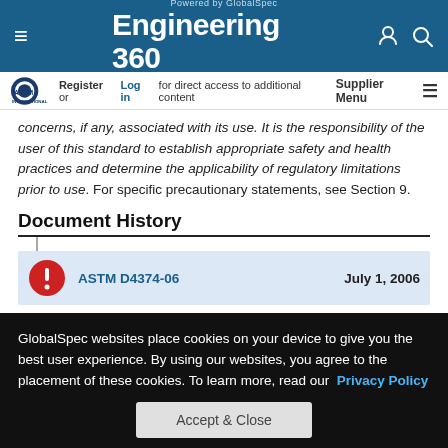Engineering 360 — Powered by GlobalSpec
Register or Log in for direct access to additional content  Supplier Menu
concerns, if any, associated with its use. It is the responsibility of the user of this standard to establish appropriate safety and health practices and determine the applicability of regulatory limitations prior to use. For specific precautionary statements, see Section 9.
Document History
ASTM D4374-06  July 1, 2006
GlobalSpec websites place cookies on your device to give you the best user experience. By using our websites, you agree to the placement of these cookies. To learn more, read our  Privacy Policy
Accept & Close